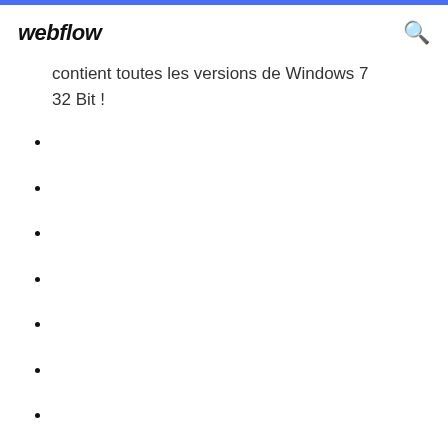webflow
contient toutes les versions de Windows 7 32 Bit !